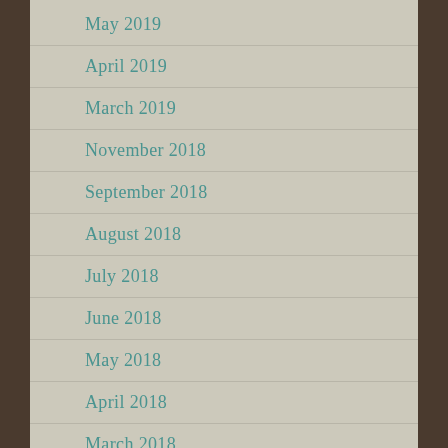May 2019
April 2019
March 2019
November 2018
September 2018
August 2018
July 2018
June 2018
May 2018
April 2018
March 2018